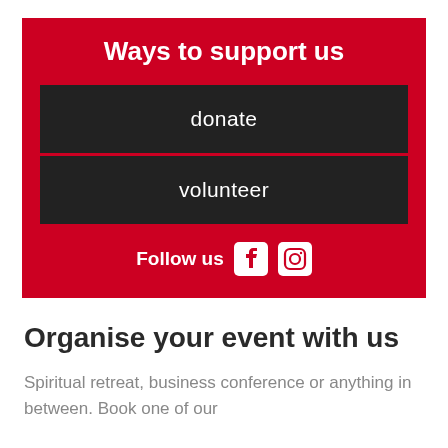Ways to support us
donate
volunteer
Follow us
Organise your event with us
Spiritual retreat, business conference or anything in between. Book one of our